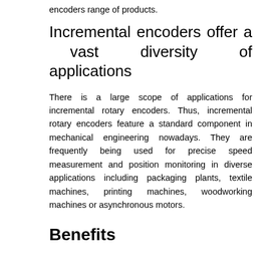encoders range of products.
Incremental encoders offer a vast diversity of applications
There is a large scope of applications for incremental rotary encoders. Thus, incremental rotary encoders feature a standard component in mechanical engineering nowadays. They are frequently being used for precise speed measurement and position monitoring in diverse applications including packaging plants, textile machines, printing machines, woodworking machines or asynchronous motors.
Benefits